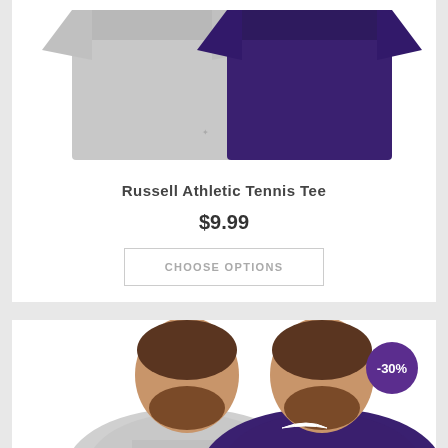[Figure (photo): Two folded t-shirts side by side: one grey and one dark navy/purple, shown as a product image for the Russell Athletic Tennis Tee]
Russell Athletic Tennis Tee
$9.99
CHOOSE OPTIONS
[Figure (photo): Two men wearing t-shirts: one in a grey shirt and one in a dark purple Nike shirt, with a -30% discount badge in the top right corner]
-30%
Sign Up For Specials!